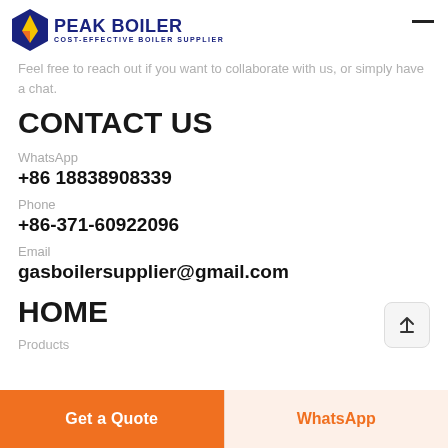PEAK BOILER | COST-EFFECTIVE BOILER SUPPLIER
Feel free to reach out if you want to collaborate with us, or simply have a chat.
CONTACT US
WhatsApp
+86 18838908339
Phone
+86-371-60922096
Email
gasboilersupplier@gmail.com
HOME
Products